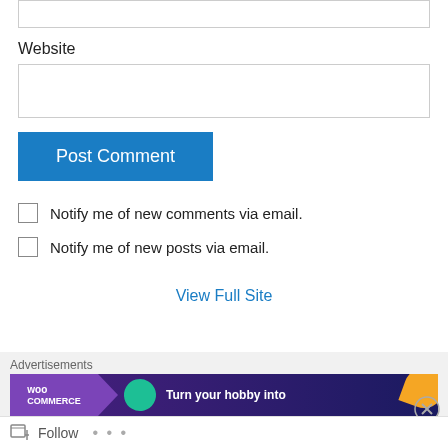Website
Post Comment
Notify me of new comments via email.
Notify me of new posts via email.
View Full Site
Advertisements
[Figure (screenshot): WooCommerce advertisement banner with text 'Turn your hobby into']
Follow